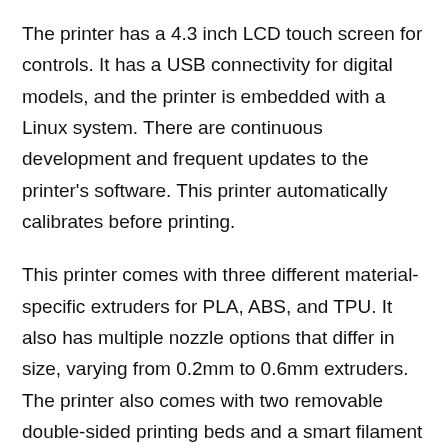The printer has a 4.3 inch LCD touch screen for controls. It has a USB connectivity for digital models, and the printer is embedded with a Linux system. There are continuous development and frequent updates to the printer's software. This printer automatically calibrates before printing.
This printer comes with three different material-specific extruders for PLA, ABS, and TPU. It also has multiple nozzle options that differ in size, varying from 0.2mm to 0.6mm extruders. The printer also comes with two removable double-sided printing beds and a smart filament chamber that supports filament spools of 0.5kg and 1 kg of TierTime and 3rd party filament manufacturer filaments.
This enclosed frame FDM printer has a Dual Filtration System that effectively reduces VOC and